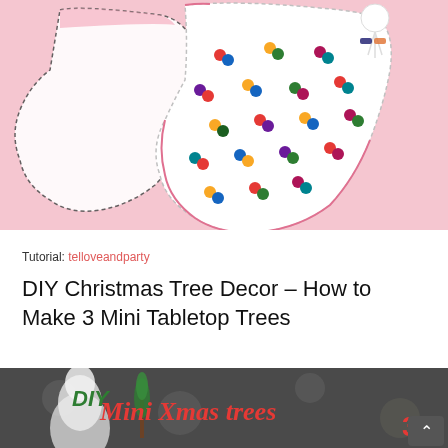[Figure (photo): A white felt Christmas stocking decorated with colorful pom-poms arranged in pairs, with stitched edges and a white tassel/pom-pom at the top right, against a pink background. There appear to be two stockings partially visible.]
Tutorial: telloveandparty
DIY Christmas Tree Decor – How to Make 3 Mini Tabletop Trees
[Figure (photo): A blog post thumbnail image with text overlay reading 'DIY Mini Xmas trees 3' in red and green festive lettering, with a background showing white fluffy trees, bottle brush trees, and bokeh lights.]